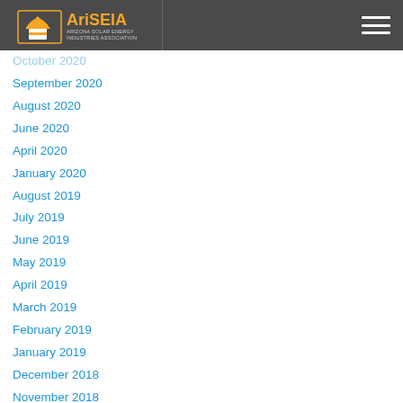[Figure (logo): AriSEIA Arizona Solar Energy Industries Association logo with orange and white graphic on dark grey header background]
October 2020
September 2020
August 2020
June 2020
April 2020
January 2020
August 2019
July 2019
June 2019
May 2019
April 2019
March 2019
February 2019
January 2019
December 2018
November 2018
October 2018